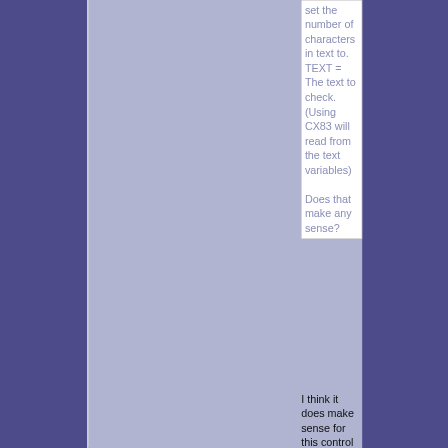set the number of characters in text to. TEXT = The text to check. (Using CX83 will read from the text variables)

Does that make any sense?
I think it does make sense for this control code.
It's not like there is much text in that opcode